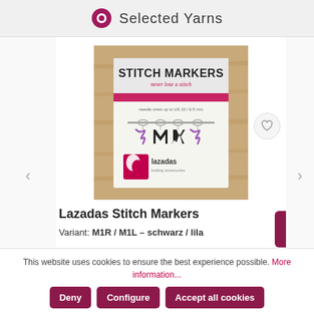Selected Yarns
[Figure (photo): Product photo of Lazadas Stitch Markers packaging on a wooden background, showing stitch markers hanging from a bar with black M1R/M1L and purple zigzag charms]
Lazadas Stitch Markers
Variant: M1R / M1L - schwarz / lila
This website uses cookies to ensure the best experience possible. More information...